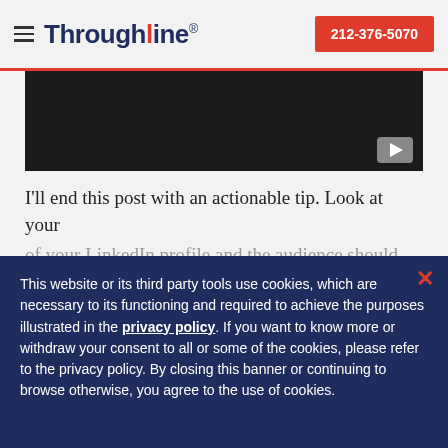Throughline | 212-376-5070
[Figure (screenshot): Black video player area with a grey play button in bottom-right corner]
I'll end this post with an actionable tip. Look at your
This website or its third party tools use cookies, which are necessary to its functioning and required to achieve the purposes illustrated in the privacy policy. If you want to know more or withdraw your consent to all or some of the cookies, please refer to the privacy policy. By closing this banner or continuing to browse otherwise, you agree to the use of cookies.